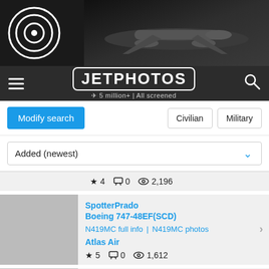[Figure (screenshot): JetPhotos website screenshot showing banner with airplane and logo, navigation bar, search controls, and aircraft photo listing results]
JETPHOTOS | 5 million+ | All screened
Modify search | Civilian | Military
Added (newest)
★ 4  💬 0  👁 2,196
SpotterPrado
Boeing 747-48EF(SCD)
N419MC full info | N419MC photos
Atlas Air
★ 5  💬 0  👁 1,612
SpotterPrado
Boeing 747-47UF(SCD)
N477MC full info | N477MC photos
Atlas Air